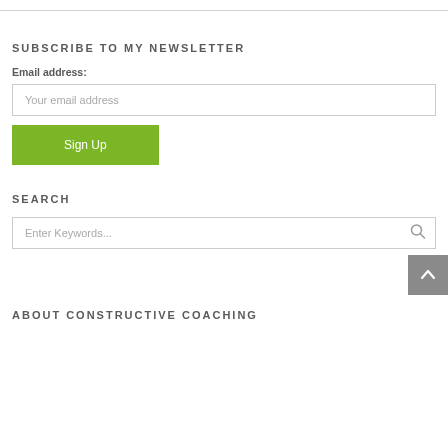SUBSCRIBE TO MY NEWSLETTER
Email address:
Your email address
Sign Up
SEARCH
Enter Keywords...
ABOUT CONSTRUCTIVE COACHING